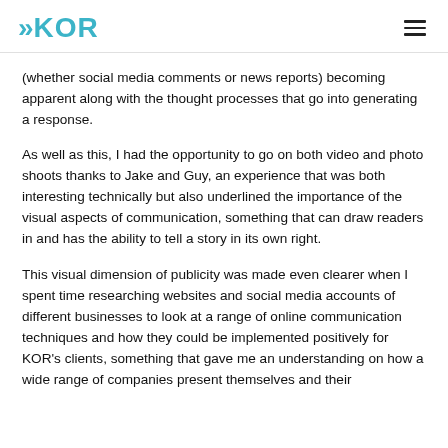KOR
(whether social media comments or news reports) becoming apparent along with the thought processes that go into generating a response.
As well as this, I had the opportunity to go on both video and photo shoots thanks to Jake and Guy, an experience that was both interesting technically but also underlined the importance of the visual aspects of communication, something that can draw readers in and has the ability to tell a story in its own right.
This visual dimension of publicity was made even clearer when I spent time researching websites and social media accounts of different businesses to look at a range of online communication techniques and how they could be implemented positively for KOR's clients, something that gave me an understanding on how a wide range of companies present themselves and their